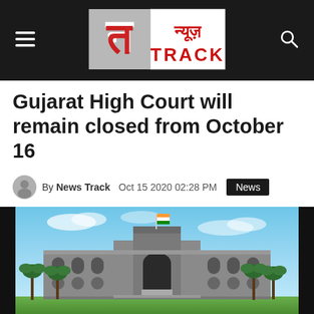न्यूज़ TRACK
Gujarat High Court will remain closed from October 16
By News Track   Oct 15 2020 02:28 PM   News
[Figure (photo): Exterior photograph of the Gujarat High Court building — a multi-storey grey stone building with arched windows, palm trees, and an Indian flag on top.]